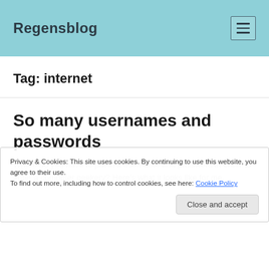Regensblog
Tag: internet
So many usernames and passwords
Privacy & Cookies: This site uses cookies. By continuing to use this website, you agree to their use.
To find out more, including how to control cookies, see here: Cookie Policy
Where do you have to put in a username and password in order to enter a computer geekery? Here's what it looks like for me.
Work stuff